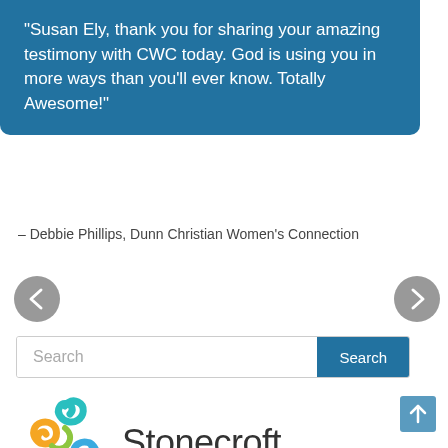“Susan Ely, thank you for sharing your amazing testimony with CWC today. God is using you in more ways than you’ll ever know. Totally Awesome!”
– Debbie Phillips, Dunn Christian Women’s Connection
[Figure (screenshot): Navigation previous arrow button (grey circle with left chevron)]
[Figure (screenshot): Navigation next arrow button (grey circle with right chevron)]
[Figure (screenshot): Search bar with text input and blue Search button]
[Figure (logo): Stonecroft logo: colorful ribbon star shape with text 'Stonecroft']
[Figure (screenshot): Back to top button, light blue square with up arrow]